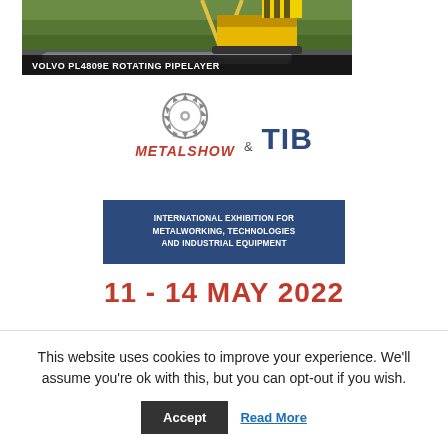[Figure (photo): Volvo PL4809E Rotating Pipelayer construction machine — yellow and black tracked vehicle lowering pipe, photographed outdoors. White text overlay reads: VOLVO PL4809E ROTATING PIPELAYER]
[Figure (logo): MetalShow & TIB logo — circular saw blade graphic above stylized text METALSHOW in red/dark and TIB in dark blue bold lettering, with ampersand between]
[Figure (infographic): Dark navy blue rectangle banner reading: INTERNATIONAL EXHIBITION FOR METALWORKING, TECHNOLOGIES AND INDUSTRIAL EQUIPMENT in white bold uppercase text]
11 - 14 MAY 2022
This website uses cookies to improve your experience. We'll assume you're ok with this, but you can opt-out if you wish.
Accept   Read More